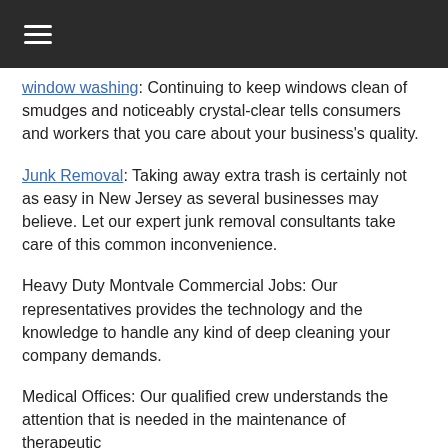≡
window washing: Continuing to keep windows clean of smudges and noticeably crystal-clear tells consumers and workers that you care about your business's quality.
Junk Removal: Taking away extra trash is certainly not as easy in New Jersey as several businesses may believe. Let our expert junk removal consultants take care of this common inconvenience.
Heavy Duty Montvale Commercial Jobs: Our representatives provides the technology and the knowledge to handle any kind of deep cleaning your company demands.
Medical Offices: Our qualified crew understands the attention that is needed in the maintenance of therapeutic